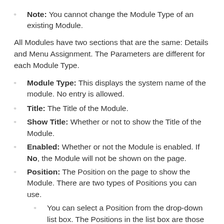Note: You cannot change the Module Type of an existing Module.
All Modules have two sections that are the same: Details and Menu Assignment. The Parameters are different for each Module Type.
Module Type: This displays the system name of the module. No entry is allowed.
Title: The Title of the Module.
Show Title: Whether or not to show the Title of the Module.
Enabled: Whether or not the Module is enabled. If No, the Module will not be shown on the page.
Position: The Position on the page to show the Module. There are two types of Positions you can use.
You can select a Position from the drop-down list box. The Positions in the list box are those...